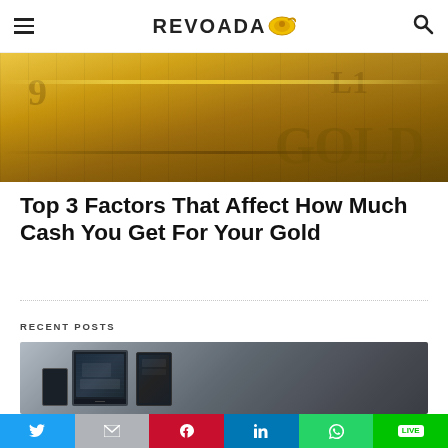REVOADA
[Figure (photo): Close-up photograph of gold bars/bullion with embossed text and numbers visible]
Top 3 Factors That Affect How Much Cash You Get For Your Gold
RECENT POSTS
[Figure (photo): Photo of multiple computer monitors and a tablet displaying design/UI work on dark screens]
Twitter | Gmail | Pinterest | LinkedIn | WhatsApp | LINE